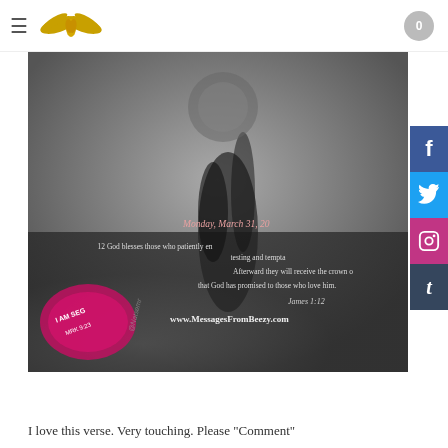≡ [logo] 0
[Figure (photo): Black and white photo of a person on a bicycle with a wristband reading 'I AM SEG MRK 9:23', overlaid with a Bible verse: 'Monday, March 31, 20... 12 God blesses those who patiently en... testing and tempta... Afterward they will receive the crown o... that God has promised to those who love him. James 1:12 www.MessagesFromBeezy.com']
I love this verse. Very touching. Please "Comment"